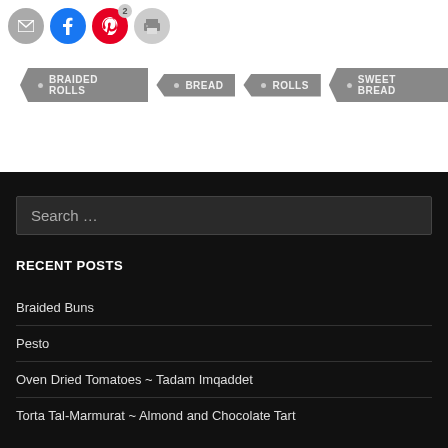[Figure (other): Social sharing icons: email (grey circle), Facebook (blue circle with f), Pinterest (red circle with P and badge showing 2), print (grey circle with printer icon)]
BRAIDED ROLLS
BREAD
ROLLS
SWEET BREAD
Search ...
RECENT POSTS
Braided Buns
Pesto
Oven Dried Tomatoes ~ Tadam Imqaddet
Torta Tal-Marmurat ~ Almond and Chocolate Tart